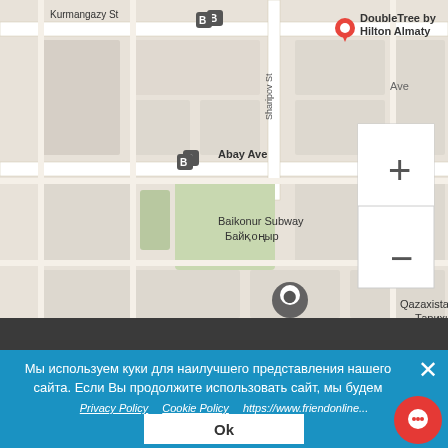[Figure (map): Google Maps screenshot showing area around DoubleTree by Hilton Almaty, Baikonur Subway station, Abay Ave, Kurmangazy St, and Qazaxistan Milli university area in Almaty, Kazakhstan. Map includes transit icons, zoom controls (+/-), and a location marker.]
Get directions
Copyright © 2017-2022
Мы используем куки для наилучшего представления нашего сайта. Если Вы продолжите использовать сайт, мы будем считать что Вас это устраивает.
Privacy Policy   Cookie Policy   https://www.friendonline...
Ok